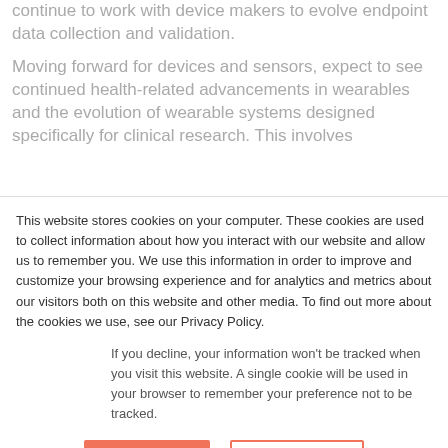continue to work with device makers to evolve endpoint data collection and validation.
Moving forward for devices and sensors, expect to see continued health-related advancements in wearables and the evolution of wearable systems designed specifically for clinical research. This involves
This website stores cookies on your computer. These cookies are used to collect information about how you interact with our website and allow us to remember you. We use this information in order to improve and customize your browsing experience and for analytics and metrics about our visitors both on this website and other media. To find out more about the cookies we use, see our Privacy Policy.
If you decline, your information won't be tracked when you visit this website. A single cookie will be used in your browser to remember your preference not to be tracked.